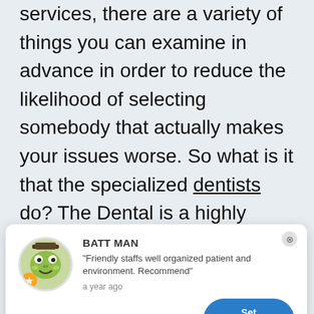services, there are a variety of things you can examine in advance in order to reduce the likelihood of selecting somebody that actually makes your issues worse. So what is it that the specialized dentists do? The Dental is a highly skilled profession that is always in great demand, a result of the fact that every person and company at some time or another will need [function of a] [vice that is of] [at lacks in a] [sinesses. They] [that are way] [your pal from] [ows some]
[Figure (other): Popup review card showing avatar of cartoon frog character labeled 'BATT MAN', review text 'Friendly staffs well organized patient and environment. Recommend', timestamp 'a year ago', five gold stars, and a 'Set Appointment →' button in blue. A close (X) button appears in top right.]